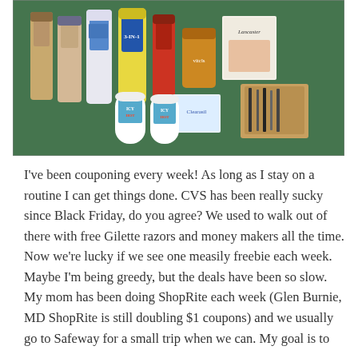[Figure (photo): A photograph of various personal care and health products arranged on a green carpet, including Suave shampoo/conditioner bottles, a Suave body wash, a Smurf 3-in-1 shampoo, Icy Hot containers, a Clearasil box, vitamins, a Lancaster branded box, and some makeup/cosmetic items.]
I've been couponing every week! As long as I stay on a routine I can get things done. CVS has been really sucky since Black Friday, do you agree? We used to walk out of there with free Gilette razors and money makers all the time. Now we're lucky if we see one measily freebie each week. Maybe I'm being greedy, but the deals have been so slow. My mom has been doing ShopRite each week (Glen Burnie, MD ShopRite is still doubling $1 coupons) and we usually go to Safeway for a small trip when we can. My goal is to